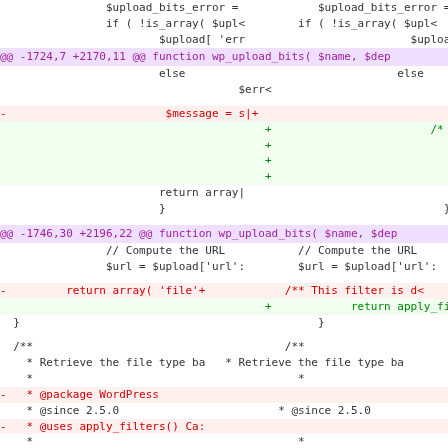[Figure (screenshot): A side-by-side diff view of PHP code (WordPress source), showing two columns of a unified diff. Includes hunk headers in magenta/purple, removed lines in red on pink background, added lines in green on light-green background, and context lines in black on white. The diff shows changes to wp_upload_bits() function including $upload_bits_error, $message, return array(), and wp_upload_bits docblock lines.]